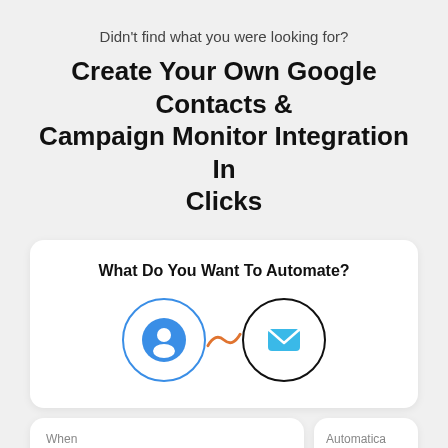Didn’t find what you were looking for?
Create Your Own Google Contacts & Campaign Monitor Integration In Clicks
[Figure (screenshot): A UI card showing 'What Do You Want To Automate?' with a blue Google Contacts person icon connected by an orange squiggle to a black-outlined Campaign Monitor envelope icon]
[Figure (screenshot): Two bottom UI cards: left card shows 'When / This happens' with a search icon; right card shows 'Automatically / Do thi' (partially cut off)]